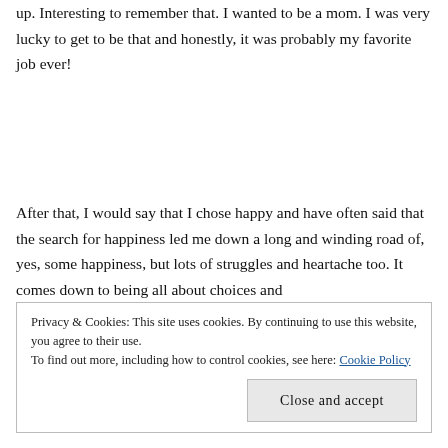up. Interesting to remember that. I wanted to be a mom. I was very lucky to get to be that and honestly, it was probably my favorite job ever!
After that, I would say that I chose happy and have often said that the search for happiness led me down a long and winding road of, yes, some happiness, but lots of struggles and heartache too. It comes down to being all about choices and
Privacy & Cookies: This site uses cookies. By continuing to use this website, you agree to their use.
To find out more, including how to control cookies, see here: Cookie Policy
Close and accept